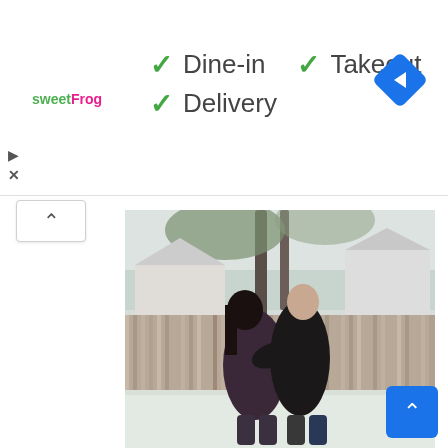[Figure (logo): sweetFrog brand logo in green and pink text]
✓ Dine-in  ✓ Takeout
✓ Delivery
[Figure (illustration): Blue diamond shaped navigation/directions icon with white arrow pointing right]
[Figure (photo): A couple embracing outdoors in winter. A man in a black puffer jacket kisses a woman with long dark hair wearing a dark purple/maroon puffer jacket. Background shows a wooden fence, snow-dusted ground, bare trees, and houses.]
[Figure (illustration): Blue square scroll-to-top button with white upward chevron arrow]